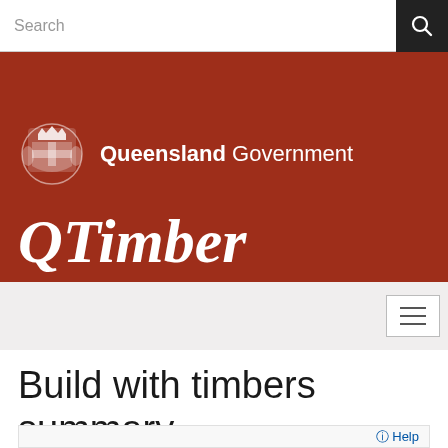Search
[Figure (logo): Queensland Government coat of arms logo with text 'Queensland Government' in white on red background, followed by QTimber site title in large italic white text]
Build with timbers summary
Help